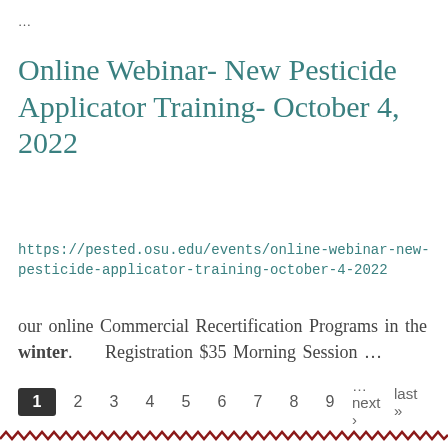…
Online Webinar- New Pesticide Applicator Training- October 4, 2022
https://pested.osu.edu/events/online-webinar-new-pesticide-applicator-training-october-4-2022
our online Commercial Recertification Programs in the winter. Registration $35 Morning Session …
1 2 3 4 5 6 7 8 9 …next › last »